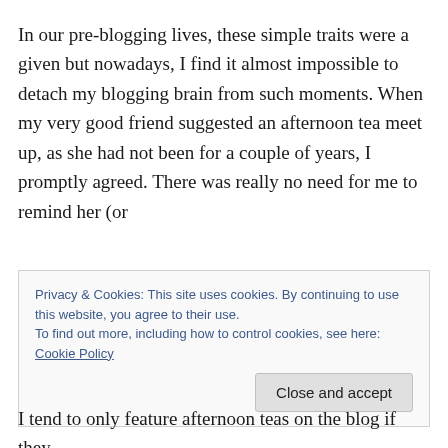In our pre-blogging lives, these simple traits were a given but nowadays, I find it almost impossible to detach my blogging brain from such moments. When my very good friend suggested an afternoon tea meet up, as she had not been for a couple of years, I promptly agreed. There was really no need for me to remind her (or
Privacy & Cookies: This site uses cookies. By continuing to use this website, you agree to their use.
To find out more, including how to control cookies, see here: Cookie Policy
[Close and accept]
I tend to only feature afternoon teas on the blog if they